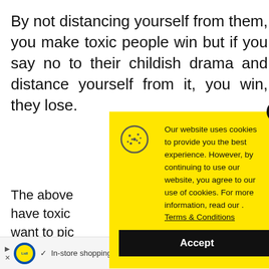By not distancing yourself from them, you make toxic people win but if you say no to their childish drama and distance yourself from it, you win, they lose.
The above [partially obscured] have toxic [partially obscured] want to pic[k] [partially obscured] reason and [partially obscured]
So if you [partially obscured]
[Figure (screenshot): Cookie consent popup with yellow background. Contains cookie icon, text: 'Our website uses cookies to provide you the best experience. However, by continuing to use our website, you agree to our use of cookies. For more information, read our . Terms & Conditions', and an Accept button. A close (x) button appears at top right.]
[Figure (screenshot): Video player error message: 'No compatible source was found for this media.' overlaid on a background image, with a yellow X dismiss button.]
[Figure (screenshot): Advertisement banner at bottom showing Lidl logo with text: 'In-store shopping' and navigation arrows.]